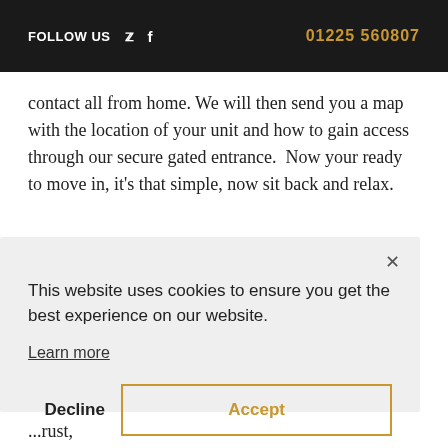FOLLOW US  🐦  f  |  01225 560807
contact all from home. We will then send you a map with the location of your unit and how to gain access through our secure gated entrance.  Now your ready to move in, it's that simple, now sit back and relax.
This website uses cookies to ensure you get the best experience on our website.

Learn more

Decline   Accept
...trust,...facility...